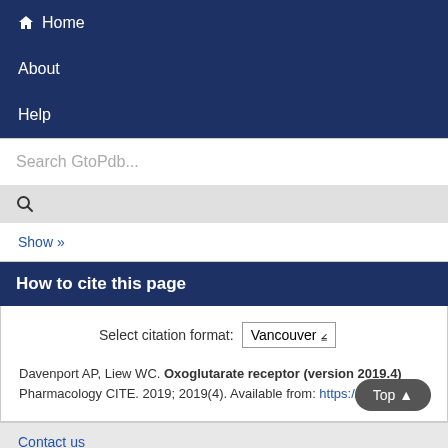Home
About
Help
Search GtoPdb...
Show »
How to cite this page
Select citation format: Vancouver
Davenport AP, Liew WC. Oxoglutarate receptor (version 2019.4) Pharmacology CITE. 2019; 2019(4). Available from: https://doi.org/1
Contact us